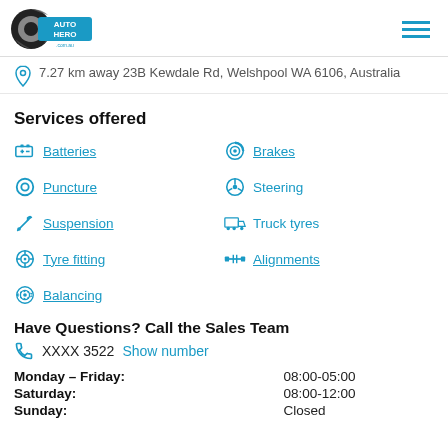Auto Hero .com.au
7.27 km away 23B Kewdale Rd, Welshpool WA 6106, Australia
Services offered
Batteries
Brakes
Puncture
Steering
Suspension
Truck tyres
Tyre fitting
Alignments
Balancing
Have Questions? Call the Sales Team
XXXX 3522  Show number
| Day | Hours |
| --- | --- |
| Monday - Friday: | 08:00-05:00 |
| Saturday: | 08:00-12:00 |
| Sunday: | Closed |